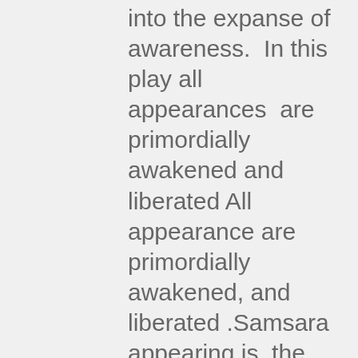into the expanse of awareness.  In this play all appearances  are primordially awakened and liberated All appearance are primordially awakened, and liberated .Samsara appearing is  the nature of luminous space. Confusion and bewilderment are the manifestion of the appearance of awareness. Confusion itself is liberation.The dzogchen view is not simply about emptiness but is about the luminousity  of radiance and the spontaneous presence .Samsara appears from the nature of luminous space  and it is the appearance of luminous space .All  phenomena and thoughts are primordially awakened and pure as self awareness.This is the fully apparent path for everyone. wheither a